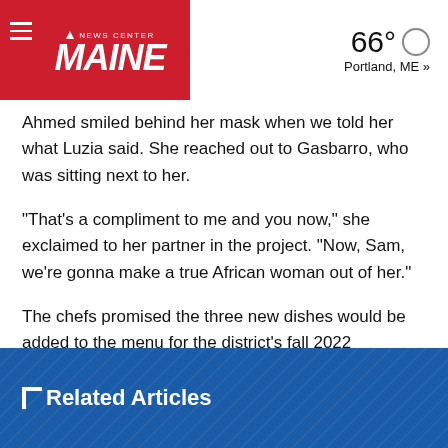NEWS CENTER MAINE | 66° Portland, ME »
Ahmed smiled behind her mask when we told her what Luzia said. She reached out to Gasbarro, who was sitting next to her.
"That's a compliment to me and you now," she exclaimed to her partner in the project. "Now, Sam, we're gonna make a true African woman out of her."
The chefs promised the three new dishes would be added to the menu for the district's fall 2022 semester.
The pair introduced their menu to the Westbrook school district first and, after success there, brought the idea to the state's largest and most diverse district.
Related Articles